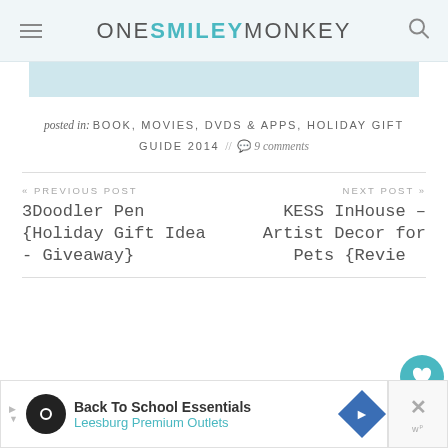ONE SMILEY MONKEY
posted in: BOOK, MOVIES, DVDS & APPS, HOLIDAY GIFT GUIDE 2014 // 9 comments
« PREVIOUS POST
3Doodler Pen {Holiday Gift Idea - Giveaway}
NEXT POST »
KESS InHouse – Artist Decor for Pets {Review}
[Figure (other): Advertisement banner: Back To School Essentials, Leesburg Premium Outlets]
[Figure (other): Like button (heart icon, teal) with count 1, and share button]